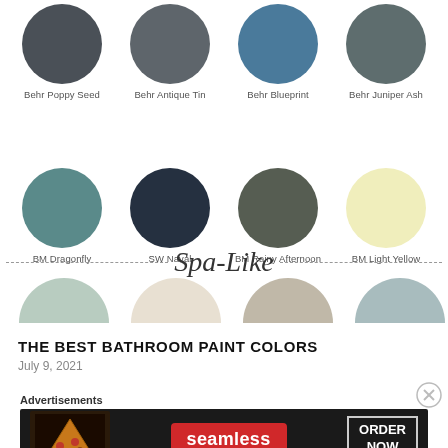[Figure (illustration): Color swatches grid showing paint colors. Row 1: Behr Poppy Seed (dark gray circle), Behr Antique Tin (medium gray circle), Behr Blueprint (teal-blue circle), Behr Juniper Ash (dark sage circle). Row 2: BM Dragonfly (muted teal circle), SW Naval (navy circle), BM Rainy Afternoon (dark olive circle), BM Light Yellow (pale yellow circle). Spa-Like dashed divider with script text. Row 3 (half circles): light sage, cream, warm taupe, soft blue-gray.]
THE BEST BATHROOM PAINT COLORS
July 9, 2021
[Figure (advertisement): Seamless food delivery advertisement banner with pizza image, Seamless logo in red, and ORDER NOW button.]